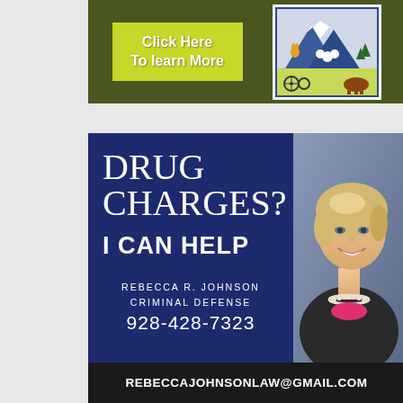[Figure (infographic): Town of Pima advertisement banner with olive green background, yellow-green 'Click Here To learn More' button, and Town of Pima logo (mountain/agricultural scene in blue and white)]
[Figure (infographic): Legal advertisement for Rebecca R. Johnson Criminal Defense. Navy blue background on left with text: DRUG CHARGES? I CAN HELP, REBECCA R. JOHNSON CRIMINAL DEFENSE, 928-428-7323. Right side shows photo of blonde woman attorney. Black footer bar with REBECCAJOHNSONLAW@GMAIL.COM]